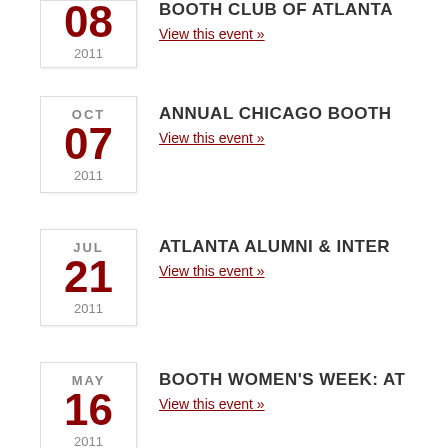08 2011 - BOOTH CLUB OF ATLANTA - View this event »
OCT 07 2011 - ANNUAL CHICAGO BOOTH - View this event »
JUL 21 2011 - ATLANTA ALUMNI & INTER - View this event »
MAY 16 2011 - BOOTH WOMEN'S WEEK: AT - View this event »
DEC 02 2010 - ANNUAL FALL PARTY - View this event »
NOV - ATLANTA FUSION